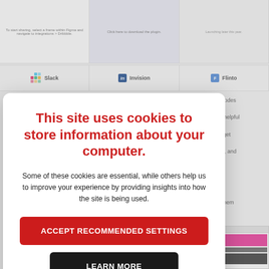[Figure (screenshot): Background webpage showing integration cards with Slack, Invision, and Flinto logos, plus partially visible right-side text content and a bottom-right screenshot thumbnail]
This site uses cookies to store information about your computer.
Some of these cookies are essential, while others help us to improve your experience by providing insights into how the site is being used.
ACCEPT RECOMMENDED SETTINGS
LEARN MORE